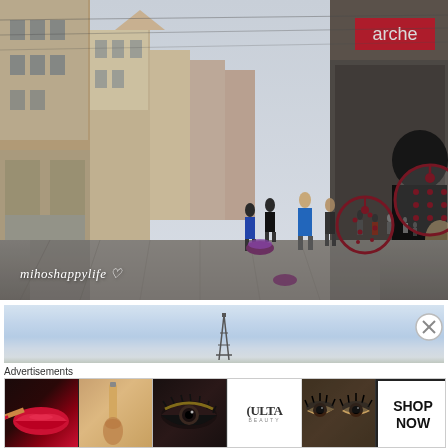[Figure (photo): Street scene of a European shopping street (Strasbourg, France) with Christmas ornament decorations hanging overhead. Buildings line both sides, people walk along the pedestrian street. A person in dark clothing is visible on the right. The 'arche' store sign is visible upper right. Watermark text 'mihoshappylife ♡' in white italic at lower left.]
[Figure (photo): Partial advertisement banner showing a light blue sky with Eiffel Tower silhouette in the center and a close (X) button in the upper right corner.]
Advertisements
[Figure (infographic): Advertisement strip showing beauty/makeup products: lips with red lipstick and brush, makeup brush on skin-toned background, eye with mascara and dramatic eye makeup, ULTA Beauty logo, dramatic eye makeup close-up, and 'SHOP NOW' call to action button.]